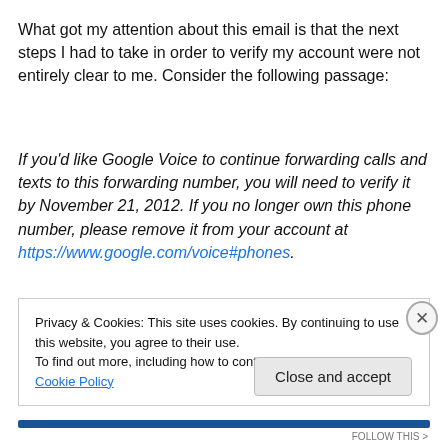What got my attention about this email is that the next steps I had to take in order to verify my account were not entirely clear to me. Consider the following passage:
If you'd like Google Voice to continue forwarding calls and texts to this forwarding number, you will need to verify it by November 21, 2012. If you no longer own this phone number, please remove it from your account at https://www.google.com/voice#phones.
Privacy & Cookies: This site uses cookies. By continuing to use this website, you agree to their use. To find out more, including how to control cookies, see here: Cookie Policy
Close and accept